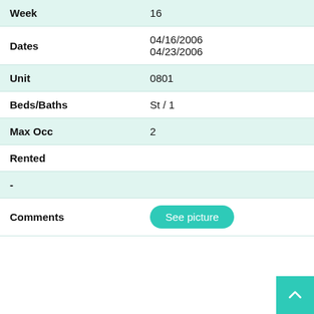| Field | Value |
| --- | --- |
| Week | 16 |
| Dates | 04/16/2006
04/23/2006 |
| Unit | 0801 |
| Beds/Baths | St / 1 |
| Max Occ | 2 |
| Rented |  |
| - |  |
| Comments | See picture |